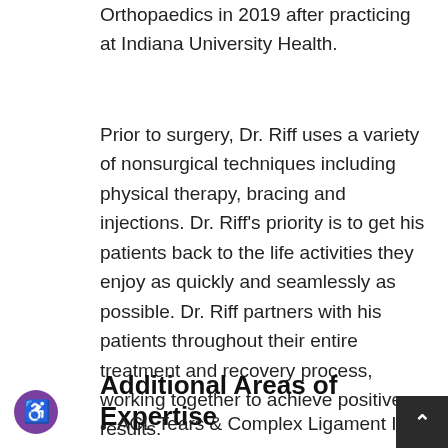Orthopaedics in 2019 after practicing at Indiana University Health.
Prior to surgery, Dr. Riff uses a variety of nonsurgical techniques including physical therapy, bracing and injections. Dr. Riff’s priority is to get his patients back to the life activities they enjoy as quickly and seamlessly as possible. Dr. Riff partners with his patients throughout their entire treatment and recovery process, working together to achieve positive results.
Additional Areas of Expertise
ACL Tears & Complex Ligament Injuri